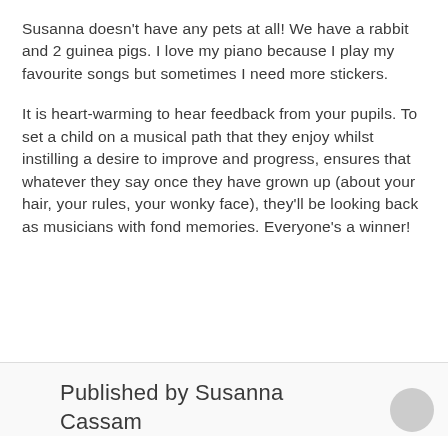Susanna doesn't have any pets at all!  We have a rabbit and 2 guinea pigs.  I love my piano because I play my favourite songs but sometimes I need more stickers.
It is heart-warming to hear feedback from your pupils. To set a child on a musical path that they enjoy whilst instilling a desire to improve and progress, ensures that whatever they say once they have grown up (about your hair, your rules, your wonky face), they'll be looking back as musicians with fond memories.  Everyone's a winner!
Published by Susanna Cassam